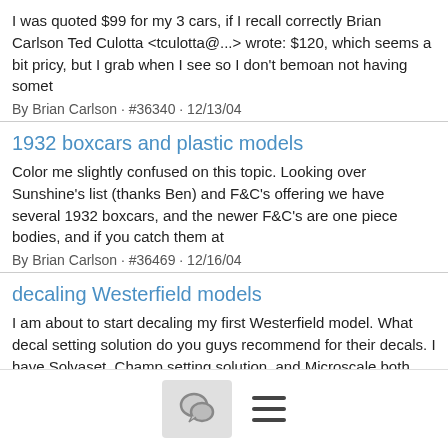I was quoted $99 for my 3 cars, if I recall correctly Brian Carlson Ted Culotta <tculotta@...> wrote: $120, which seems a bit pricy, but I grab when I see so I don't bemoan not having somet
By Brian Carlson · #36340 · 12/13/04
1932 boxcars and plastic models
Color me slightly confused on this topic. Looking over Sunshine's list (thanks Ben) and F&C's offering we have several 1932 boxcars, and the newer F&C's are one piece bodies, and if you catch them at
By Brian Carlson · #36469 · 12/16/04
decaling Westerfield models
I am about to start decaling my first Westerfield model. What decal setting solution do you guys recommend for their decals. I have Solvaset, Champ setting solution, and Microscale,both Micro sol and
By Brian Carlson · #36658 · 12/20/04
decaling Westerfield models
[Figure (other): Bottom navigation bar with a chat bubble icon button and a hamburger menu icon]